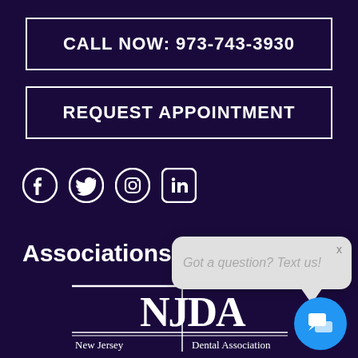CALL NOW: 973-743-3930
REQUEST APPOINTMENT
[Figure (illustration): Social media icons: Facebook, Twitter, Instagram, LinkedIn]
Associations
[Figure (logo): New Jersey Dental Association logo with NJDA initials and full name]
[Figure (screenshot): Chat popup overlay saying 'Got a question? Text us!' with close X button and chat icon button]